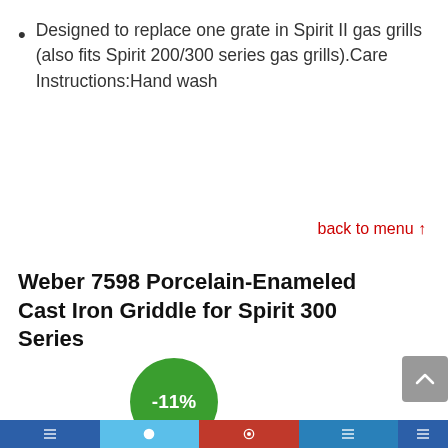Designed to replace one grate in Spirit II gas grills (also fits Spirit 200/300 series gas grills).Care Instructions:Hand wash
back to menu ↑
Weber 7598 Porcelain-Enameled Cast Iron Griddle for Spirit 300 Series
[Figure (other): Green circular discount badge showing -11%]
[Figure (other): Gray scroll-to-top button with upward chevron icon]
[Figure (other): Social media / navigation bottom bar with colored sections (dark blue, light blue, red, medium blue, dark blue)]